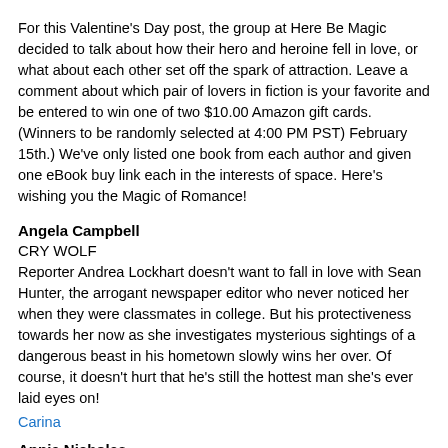For this Valentine's Day post, the group at Here Be Magic decided to talk about how their hero and heroine fell in love, or what about each other set off the spark of attraction. Leave a comment about which pair of lovers in fiction is your favorite and be entered to win one of two $10.00 Amazon gift cards. (Winners to be randomly selected at 4:00 PM PST) February 15th.) We've only listed one book from each author and given one eBook buy link each in the interests of space. Here's wishing you the Magic of Romance!
Angela Campbell
CRY WOLF
Reporter Andrea Lockhart doesn't want to fall in love with Sean Hunter, the arrogant newspaper editor who never noticed her when they were classmates in college. But his protectiveness towards her now as she investigates mysterious sightings of a dangerous beast in his hometown slowly wins her over. Of course, it doesn't hurt that he's still the hottest man she's ever laid eyes on!
Carina
Annie Nicholas